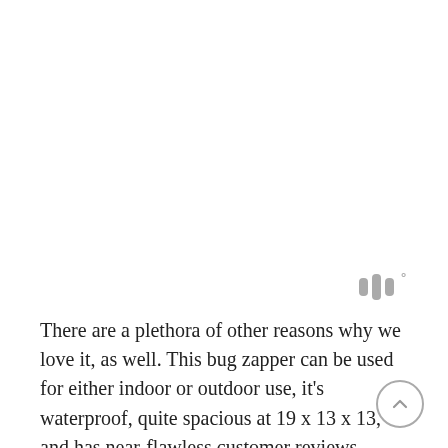[Figure (logo): Small logo mark resembling stylized 'W' or sound waves followed by a degree symbol, in gray]
There are a plethora of other reasons why we love it, as well. This bug zapper can be used for either indoor or outdoor use, it's waterproof, quite spacious at 19 x 13 x 13, and has near-flawless customer reviews. Another beneficial attribute worth mentioning is its high efficiency in killing bugs with its high power of 4200 Volts.
Users Say: “Love it!! Originally bought it for mosquitos but the fact that it also kills the horrid